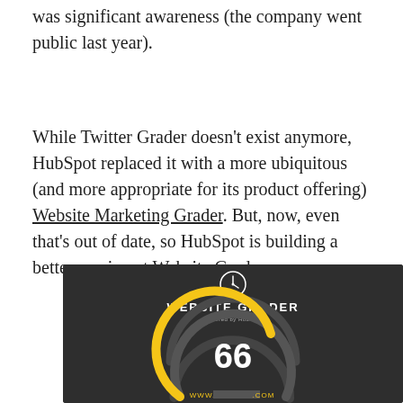was significant awareness (the company went public last year).
While Twitter Grader doesn't exist anymore, HubSpot replaced it with a more ubiquitous (and more appropriate for its product offering) Website Marketing Grader. But, now, even that's out of date, so HubSpot is building a better version at Website Grader.
[Figure (screenshot): Website Grader tool screenshot showing a dark background with the Website Grader logo (clock-like icon) at the top, the text 'WEBSITE GRADER Powered by HubSpot', a circular gauge/dial in yellow and dark gray showing the score 66 in large white text, and 'WWW.[REDACTED].COM' at the bottom.]